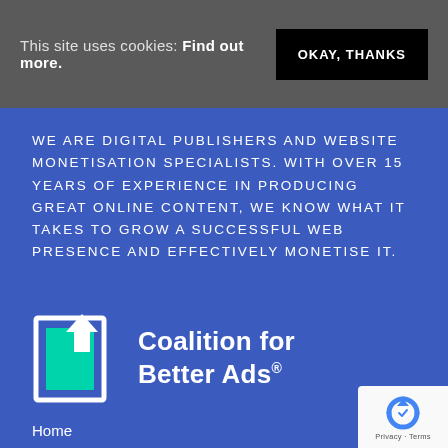This site uses cookies: Find out more.
OKAY, THANKS
WE ARE DIGITAL PUBLISHERS AND WEBSITE MONETISATION SPECIALISTS. WITH OVER 15 YEARS OF EXPERIENCE IN PRODUCING GREAT ONLINE CONTENT, WE KNOW WHAT IT TAKES TO GROW A SUCCESSFUL WEB PRESENCE AND EFFECTIVELY MONETISE IT.
[Figure (logo): Coalition for Better Ads logo — stylized document/arrow icon in teal and white on blue background, with text 'Coalition for Better Ads' in white]
Home
About Us